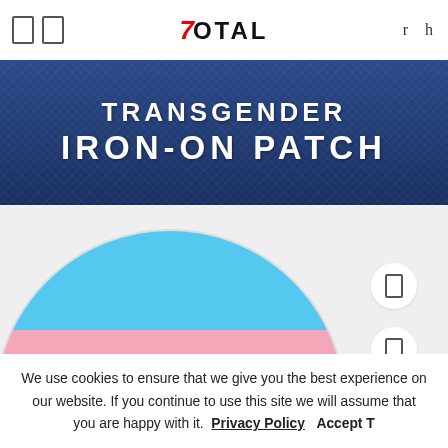7TOTAL
TRANSGENDER IRON-ON PATCH
[Figure (photo): Round circular patch showing transgender pride flag colors — blue stripe at top, pink stripe, white stripe in middle, pink stripe, with blue at bottom — displayed on light grey background]
We use cookies to ensure that we give you the best experience on our website. If you continue to use this site we will assume that you are happy with it.
Privacy Policy   Accept T